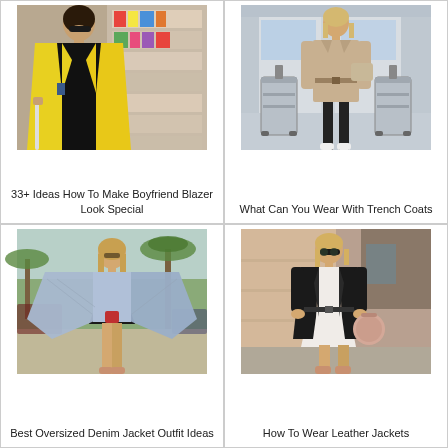[Figure (photo): Woman wearing a bright yellow blazer, black top, holding a cane, in front of a magazine rack]
33+ Ideas How To Make Boyfriend Blazer Look Special
[Figure (photo): Woman in a beige trench coat pulling a silver suitcase at an airport]
What Can You Wear With Trench Coats
[Figure (photo): Woman in an oversized light blue denim jacket and black mini dress outdoors with palm trees]
Best Oversized Denim Jacket Outfit Ideas
[Figure (photo): Woman in a black leather jacket over a white lace dress, standing on a street]
How To Wear Leather Jackets